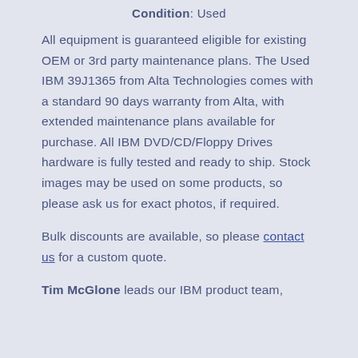Condition: Used
All equipment is guaranteed eligible for existing OEM or 3rd party maintenance plans. The Used IBM 39J1365 from Alta Technologies comes with a standard 90 days warranty from Alta, with extended maintenance plans available for purchase. All IBM DVD/CD/Floppy Drives hardware is fully tested and ready to ship. Stock images may be used on some products, so please ask us for exact photos, if required.
Bulk discounts are available, so please contact us for a custom quote.
Tim McGlone leads our IBM product team,